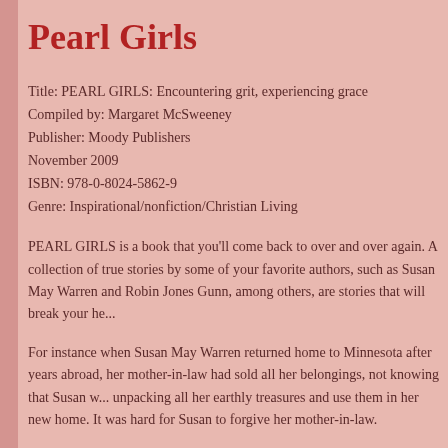Pearl Girls
Title: PEARL GIRLS: Encountering grit, experiencing grace
Compiled by: Margaret McSweeney
Publisher: Moody Publishers
November 2009
ISBN: 978-0-8024-5862-9
Genre: Inspirational/nonfiction/Christian Living
PEARL GIRLS is a book that you'll come back to over and over again. A collection of true stories by some of your favorite authors, such as Susan May Warren and Robin Jones Gunn, among others, are stories that will break your heart...
For instance when Susan May Warren returned home to Minnesota after years abroad, her mother-in-law had sold all her belongings, not knowing that Susan was going to start unpacking all her earthly treasures and use them in her new home. It was hard for Susan to forgive her mother-in-law.
Or Melody Carlson's story about having a son addicted to illegal drugs... what good could possibly come out of that?